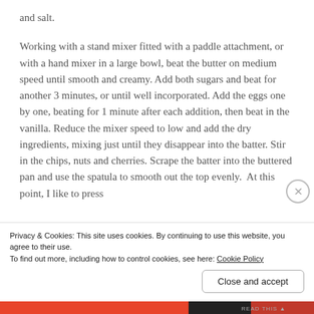and salt.
Working with a stand mixer fitted with a paddle attachment, or with a hand mixer in a large bowl, beat the butter on medium speed until smooth and creamy. Add both sugars and beat for another 3 minutes, or until well incorporated. Add the eggs one by one, beating for 1 minute after each addition, then beat in the vanilla. Reduce the mixer speed to low and add the dry ingredients, mixing just until they disappear into the batter. Stir in the chips, nuts and cherries. Scrape the batter into the buttered pan and use the spatula to smooth out the top evenly. At this point, I like to press
Privacy & Cookies: This site uses cookies. By continuing to use this website, you agree to their use.
To find out more, including how to control cookies, see here: Cookie Policy
Close and accept